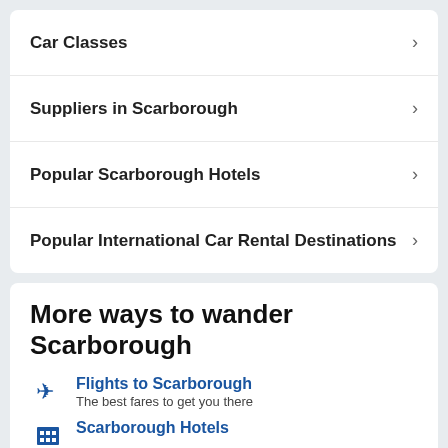Car Classes
Suppliers in Scarborough
Popular Scarborough Hotels
Popular International Car Rental Destinations
More ways to wander Scarborough
Flights to Scarborough
The best fares to get you there
Scarborough Hotels
Scarborough Vacation Rentals
Great Deals on Alternative Accommodations
Scarborough Vacations
Save more by combining flights, hotels and cars